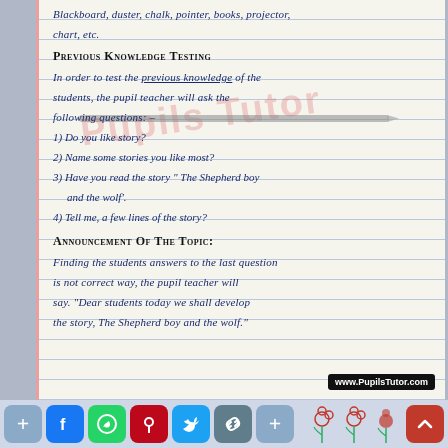Blackboard, duster, chalk, pointer, books, projector, chart, etc.
PREVIOUS KNOWLEDGE TESTING
In order to test the previous knowledge of the students, the pupil teacher will ask the following questions:-
1) Do you like story?
2) Name some stories you like most?
3) Have you read the story "The Shepherd boy and the wolf'.
4) Tell me, a few lines of the story?
ANNOUNCEMENT OF THE TOPIC:
Finding the students answers to the last question is not correct way, the pupil teacher will say. "Dear students today we shall develop the story, The Shepherd boy and the wolf."
www.PupilsTutor.com